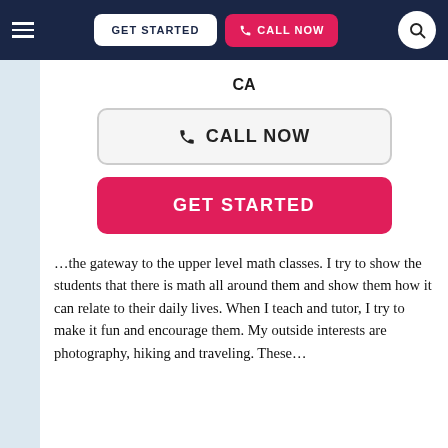GET STARTED | CALL NOW
CA
CALL NOW
GET STARTED
…the gateway to the upper level math classes. I try to show the students that there is math all around them and show them how it can relate to their daily lives. When I teach and tutor, I try to make it fun and encourage them. My outside interests are photography, hiking and traveling. These…